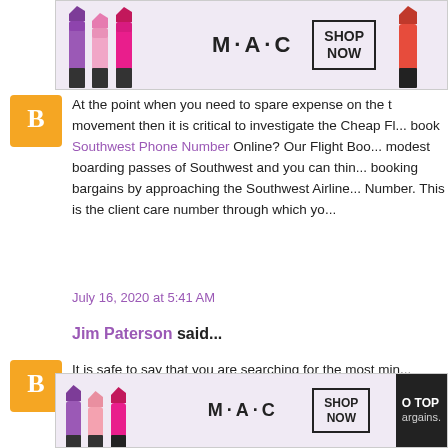[Figure (advertisement): MAC cosmetics banner ad showing lipsticks with SHOP NOW button at top]
At the point when you need to spare expense on the movement then it is critical to investigate the Cheap Fl... book Southwest Phone Number Online? Our Flight Boo... modest boarding passes of Southwest and you can thin... booking bargains by approaching the Southwest Airline... Number. This is the client care number through which yo...
July 16, 2020 at 5:41 AM
Jim Paterson said...
It is safe to say that you are searching for the most min... compelling reason to look through more since you are c... Allegiant Airlines Reservations are modest for you whe... quantity of Allegaint Airlines Reservati...one Num... bargains.
[Figure (advertisement): MAC cosmetics banner ad showing lipsticks with SHOP NOW button at bottom]
CLOSE
O TOP